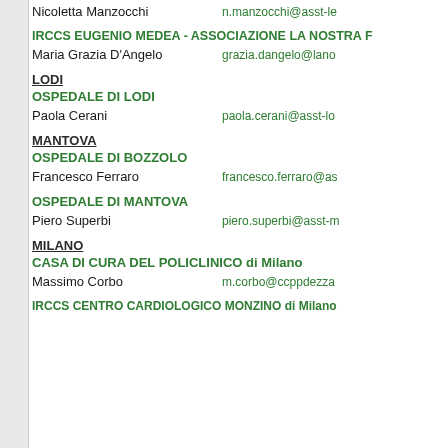Nicoletta Manzocchi — n.manzocchi@asst-le…
IRCCS EUGENIO MEDEA - ASSOCIAZIONE LA NOSTRA F…
Maria Grazia D'Angelo — grazia.dangelo@lano…
LODI
OSPEDALE DI LODI
Paola Cerani — paola.cerani@asst-lo…
MANTOVA
OSPEDALE DI BOZZOLO
Francesco Ferraro — francesco.ferraro@as…
OSPEDALE DI MANTOVA
Piero Superbi — piero.superbi@asst-m…
MILANO
CASA DI CURA DEL POLICLINICO di Milano
Massimo Corbo — m.corbo@ccppdezza…
IRCCS CENTRO CARDIOLOGICO MONZINO di Milano